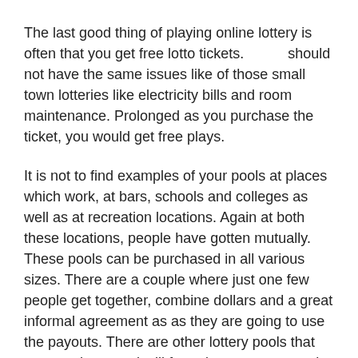The last good thing of playing online lottery is often that you get free lotto tickets.          should not have the same issues like of those small town lotteries like electricity bills and room maintenance. Prolonged as you purchase the ticket, you would get free plays.
It is not to find examples of your pools at places which work, at bars, schools and colleges as well as at recreation locations. Again at both these locations, people have gotten mutually. These pools can be purchased in all various sizes. There are a couple where just one few people get together, combine dollars and a great informal agreement as as they are going to use the payouts. There are other lottery pools that are very large and still formal agreements as the particular happens with any income.
Ken Silver is an australian online lottery website millionaire who has been using his own system to win the lottery for